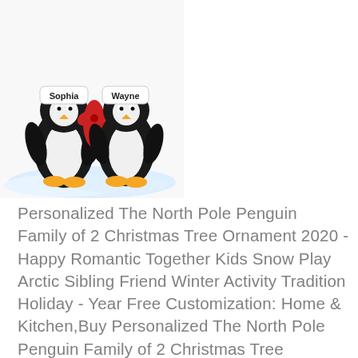[Figure (photo): Photo of two penguin Christmas ornaments labeled 'Sophia' and 'Wayne' standing on a snowy base, wearing a red scarf]
Personalized The North Pole Penguin Family of 2 Christmas Tree Ornament 2020 - Happy Romantic Together Kids Snow Play Arctic Sibling Friend Winter Activity Tradition Holiday - Year Free Customization: Home & Kitchen,Buy Personalized The North Pole Penguin Family of 2 Christmas Tree Ornament 2020 - Happy Romantic